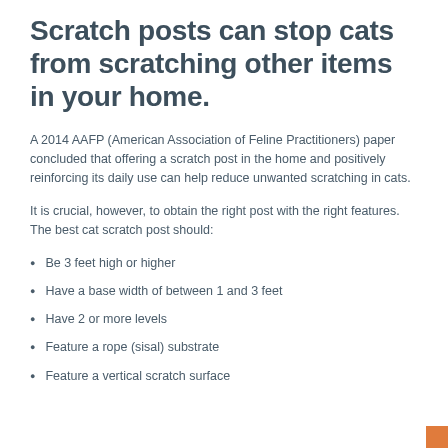Scratch posts can stop cats from scratching other items in your home.
A 2014 AAFP (American Association of Feline Practitioners) paper concluded that offering a scratch post in the home and positively reinforcing its daily use can help reduce unwanted scratching in cats.
It is crucial, however, to obtain the right post with the right features. The best cat scratch post should:
Be 3 feet high or higher
Have a base width of between 1 and 3 feet
Have 2 or more levels
Feature a rope (sisal) substrate
Feature a vertical scratch surface